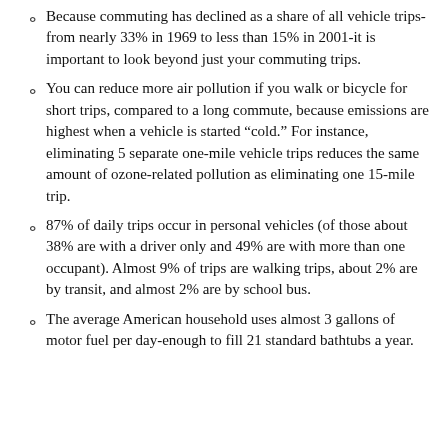Because commuting has declined as a share of all vehicle trips-from nearly 33% in 1969 to less than 15% in 2001-it is important to look beyond just your commuting trips.
You can reduce more air pollution if you walk or bicycle for short trips, compared to a long commute, because emissions are highest when a vehicle is started "cold." For instance, eliminating 5 separate one-mile vehicle trips reduces the same amount of ozone-related pollution as eliminating one 15-mile trip.
87% of daily trips occur in personal vehicles (of those about 38% are with a driver only and 49% are with more than one occupant). Almost 9% of trips are walking trips, about 2% are by transit, and almost 2% are by school bus.
The average American household uses almost 3 gallons of motor fuel per day-enough to fill 21 standard bathtubs a year.